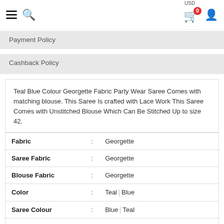≡ 🔍  USD 🛒0 👤
Payment Policy
Cashback Policy
Teal Blue Colour Georgette Fabric Party Wear Saree Comes with matching blouse. This Saree Is crafted with Lace Work This Saree Comes with Unstitched Blouse Which Can Be Stitched Up to size 42.
| Attribute | : | Value |
| --- | --- | --- |
| Fabric | : | Georgette |
| Saree Fabric | : | Georgette |
| Blouse Fabric | : | Georgette |
| Color | : | Teal  Blue |
| Saree Colour | : | Blue  Teal |
| Blouse Color | : | Purple |